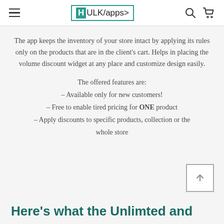HULK/apps>
The app keeps the inventory of your store intact by applying its rules only on the products that are in the client's cart. Helps in placing the volume discount widget at any place and customize design easily.
The offered features are:
– Available only for new customers!
– Free to enable tired pricing for ONE product
– Apply discounts to specific products, collection or the whole store
Here's what the Unlimted and